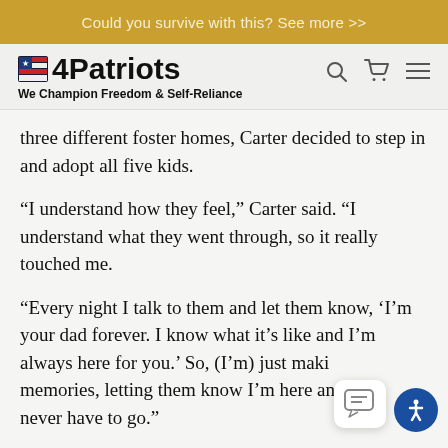Could you survive with this? See more >>
[Figure (logo): 4Patriots logo with US flag icon and tagline 'We Champion Freedom & Self-Reliance']
three different foster homes, Carter decided to step in and adopt all five kids.
“I understand how they feel,” Carter said. “I understand what they went through, so it really touched me.
“Every night I talk to them and let them know, ‘I’m your dad forever. I know what it’s like and I’m always here for you.’ So, (I’m) just making memories, letting them know I’m here and they never have to go.”